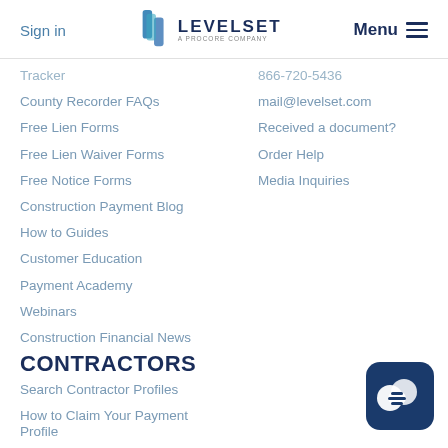Sign in | LEVELSET A PROCORE COMPANY | Menu
Tracker
866-720-5436
County Recorder FAQs
mail@levelset.com
Free Lien Forms
Received a document?
Free Lien Waiver Forms
Order Help
Free Notice Forms
Media Inquiries
Construction Payment Blog
How to Guides
Customer Education
Payment Academy
Webinars
Construction Financial News
CONTRACTORS
Search Contractor Profiles
How to Claim Your Payment Profile